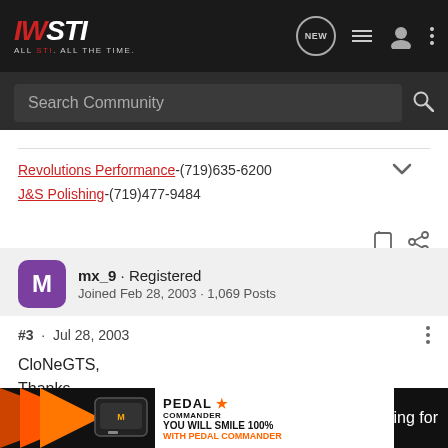IWSTI · ALL STI. ALL THE TIME. [Search Community]
Revolutions Performance-(719)635-6200
J&S Polishing-(719)477-9484
mx_9 · Registered
Joined Feb 28, 2003 · 1,069 Posts
#3 · Jul 28, 2003
CloNeGTS,

Thanks
[Figure (screenshot): Pedal Commander advertisement banner at the bottom of the page showing orange arrow graphic, device image, PEDAL COMMANDER logo with star, and text YOU WILL SMILE 100% WITH PEDAL COMMANDER]